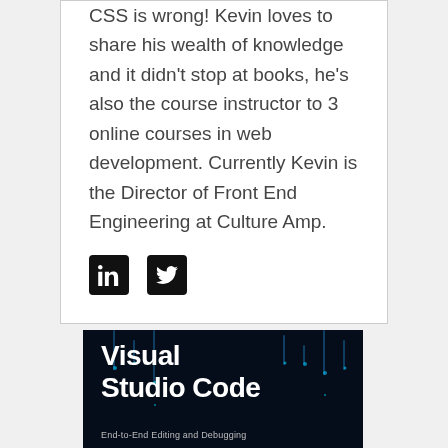CSS is wrong! Kevin loves to share his wealth of knowledge and it didn't stop at books, he's also the course instructor to 3 online courses in web development. Currently Kevin is the Director of Front End Engineering at Culture Amp.
[Figure (illustration): LinkedIn and Twitter social media icons (black square badges)]
[Figure (photo): Book cover for 'Visual Studio Code: End-to-End Editing and Debugging' with a dark blue digital/code background]